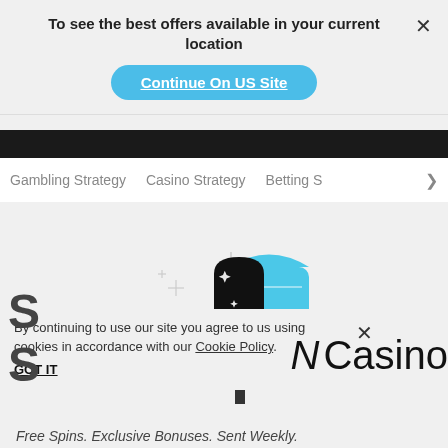To see the best offers available in your current location
Continue On US Site
Gambling Strategy   Casino Strategy   Betting S  >
[Figure (illustration): Illustration of a mailbox (blue) with a pill/capsule (black top, white bottom) in front, with sparkle decorations on a light gray background.]
By continuing to use our site you agree to us using cookies in accordance with our Cookie Policy.
GOT IT
N Casino
Free Spins. Exclusive Bonuses. Sent Weekly.